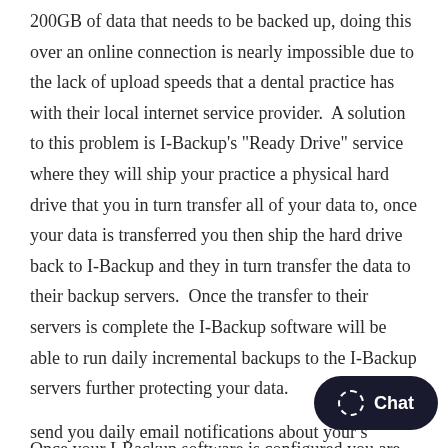200GB of data that needs to be backed up, doing this over an online connection is nearly impossible due to the lack of upload speeds that a dental practice has with their local internet service provider.  A solution to this problem is I-Backup's "Ready Drive" service where they will ship your practice a physical hard drive that you in turn transfer all of your data to, once your data is transferred you then ship the hard drive back to I-Backup and they in turn transfer the data to their backup servers.  Once the transfer to their servers is complete the I-Backup software will be able to run daily incremental backups to the I-Backup servers further protecting your data.
Once your I-Backup software is configured you are then able to set notification emails within the softw... send you daily email notifications about your...